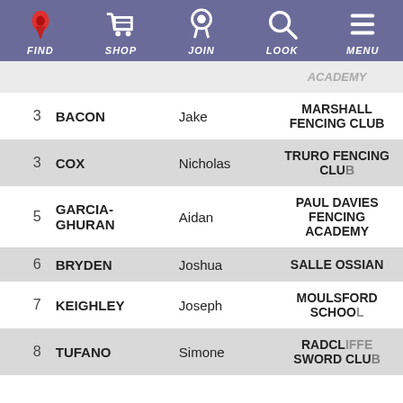[Figure (screenshot): Navigation bar with icons: FIND (map pin), SHOP (cart), JOIN (medal/ribbon), LOOK (magnifier), MENU (hamburger). Purple/indigo background.]
| # | Last Name | First Name | Club |
| --- | --- | --- | --- |
|  |  |  | ACADEMY |
| 3 | BACON | Jake | MARSHALL FENCING CLUB |
| 3 | COX | Nicholas | TRURO FENCING CLU(B) |
| 5 | GARCIA-GHURAN | Aidan | PAUL DAVIES FENCING ACADEMY |
| 6 | BRYDEN | Joshua | SALLE OSSIAN |
| 7 | KEIGHLEY | Joseph | MOULSFORD SCHOOL |
| 8 | TUFANO | Simone | RADCL... SWORD CLUB |